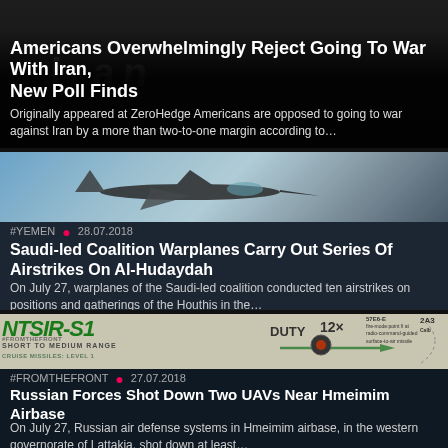Americans Overwhelmingly Reject Going To War With Iran, New Poll Finds
Originally appeared at ZeroHedge Americans are opposed to going to war against Iran by a more than two-to-one margin according to…
[Figure (photo): Dark background image related to Iran with protest imagery]
#YEMEN  •  28.07.2018
[Figure (photo): Fighter jet flying against a blue sky — Saudi-led coalition warplane]
Saudi-led Coalition Warplanes Carry Out Series Of Airstrikes On Al-Hudaydah
On July 27, warplanes of the Saudi-led coalition conducted ten airstrikes on positions and gatherings of the Houthis in the…
[Figure (infographic): PANTSIR-S1 weapon system technical diagram with DUTY label, 12x 57E6-E missiles, 2x 2A38 guns]
#FROMTHEFRONT  •  27.07.2018
Russian Forces Shot Down Two UAVs Near Hmeimim Airbase
On July 27, Russian air defense systems in Hmeimim airbase, in the western governorate of Lattakia, shot down at least…